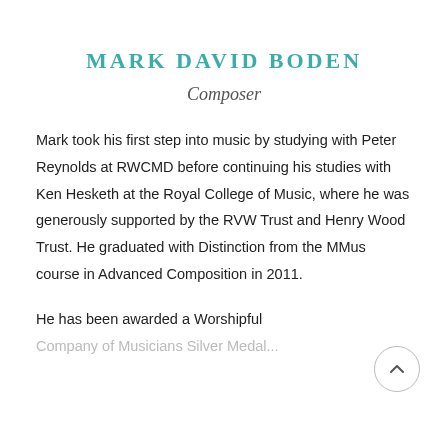MARK DAVID BODEN
Composer
Mark took his first step into music by studying with Peter Reynolds at RWCMD before continuing his studies with Ken Hesketh at the Royal College of Music, where he was generously supported by the RVW Trust and Henry Wood Trust. He graduated with Distinction from the MMus course in Advanced Composition in 2011.
He has been awarded a Worshipful Company of Musicians Silver Medal...